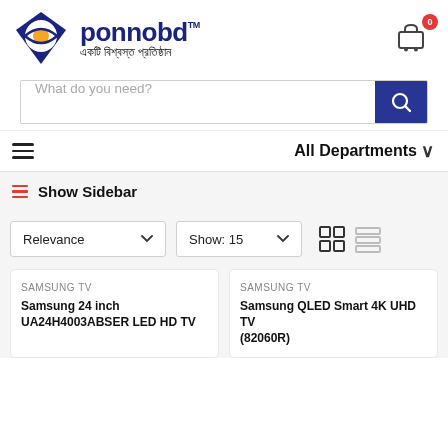[Figure (logo): Ponnobd logo with diamond/eye icon in dark blue with orange circle, text 'ponnobd TM' in dark blue, tagline in Bengali script]
[Figure (other): Shopping cart icon with red badge showing 0]
What do you need?
All Departments ∨
Show Sidebar
Relevance ▾
Show: 15 ▾
SAMSUNG TV
Samsung 24 inch UA24H4003ABSER LED HD TV
SAMSUNG TV
Samsung QLED Smart 4K UHD TV (82060R)